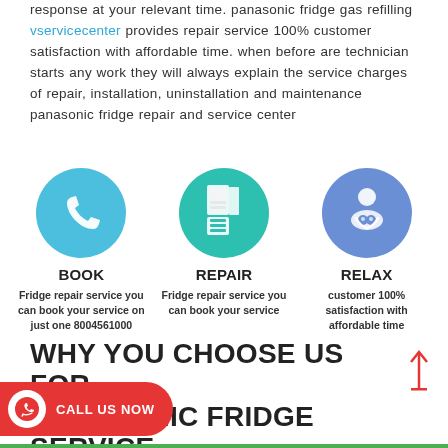response at your relevant time. panasonic fridge gas refilling vservicecenter provides repair service 100% customer satisfaction with affordable time. when before are technician starts any work they will always explain the service charges of repair, installation, uninstallation and maintenance panasonic fridge repair and service center
[Figure (infographic): Three circular icons in a row: a blue phone icon labeled BOOK, a teal refrigerator icon labeled REPAIR, and a periwinkle customer satisfaction icon labeled RELAX, each with a short description below]
BOOK - Fridge repair service you can book your service on just one 8004561000
REPAIR - Fridge repair service you can book your service
RELAX - customer 100% satisfaction with affordable time
WHY YOU CHOOSE US FOR PANASONIC FRIDGE SERVICE AND REPAIR